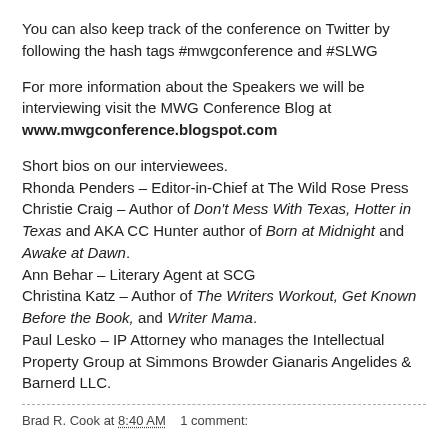You can also keep track of the conference on Twitter by following the hash tags #mwgconference and #SLWG
For more information about the Speakers we will be interviewing visit the MWG Conference Blog at www.mwgconference.blogspot.com
Short bios on our interviewees.
Rhonda Penders – Editor-in-Chief at The Wild Rose Press
Christie Craig – Author of Don’t Mess With Texas, Hotter in Texas and AKA CC Hunter author of Born at Midnight and Awake at Dawn.
Ann Behar – Literary Agent at SCG
Christina Katz – Author of The Writers Workout, Get Known Before the Book, and Writer Mama.
Paul Lesko – IP Attorney who manages the Intellectual Property Group at Simmons Browder Gianaris Angelides & Barnerd LLC.
Brad R. Cook at 8:40 AM    1 comment: